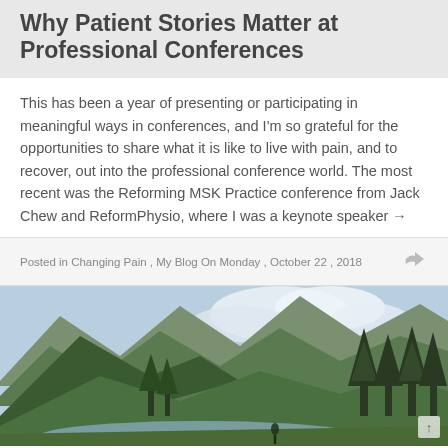Why Patient Stories Matter at Professional Conferences
This has been a year of presenting or participating in meaningful ways in conferences, and I'm so grateful for the opportunities to share what it is like to live with pain, and to recover, out into the professional conference world. The most recent was the Reforming MSK Practice conference from Jack Chew and ReformPhysio, where I was a keynote speaker →
Posted in Changing Pain , My Blog On Monday , October 22 , 2018
[Figure (photo): Landscape photo of a mountain valley with green conifer trees, a river or lake in the foreground, and mountains with clouds in the background]